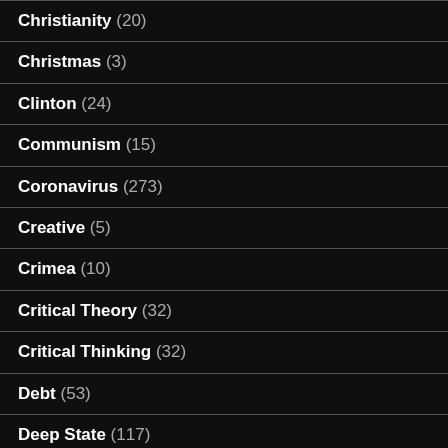Christianity (20)
Christmas (3)
Clinton (24)
Communism (15)
Coronavirus (273)
Creative (5)
Crimea (10)
Critical Theory (32)
Critical Thinking (32)
Debt (53)
Deep State (117)
Democrat Party (339)